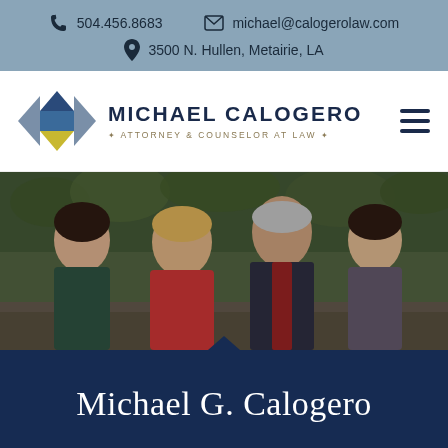504.456.8683  michael@calogerolaw.com  3500 N. Hullen, Metairie, LA
[Figure (logo): Michael Calogero Attorney & Counselor at Law logo with geometric diamond/cube shape in blue, gray, and yellow]
[Figure (photo): Family photo of four people standing together outdoors — two young women, a woman in red, and a man in a suit with a tie — in front of greenery/stone background]
Michael G. Calogero